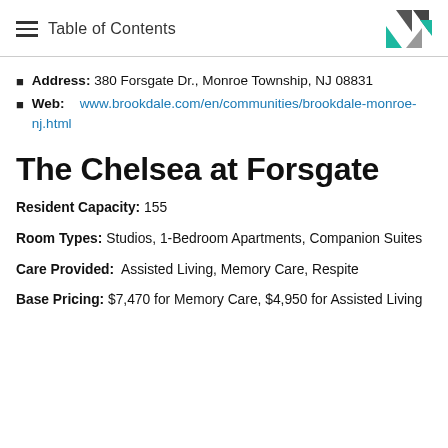Table of Contents
Address: 380 Forsgate Dr., Monroe Township, NJ 08831
Web: www.brookdale.com/en/communities/brookdale-monroe-nj.html
The Chelsea at Forsgate
Resident Capacity: 155
Room Types: Studios, 1-Bedroom Apartments, Companion Suites
Care Provided: Assisted Living, Memory Care, Respite
Base Pricing: $7,470 for Memory Care, $4,950 for Assisted Living